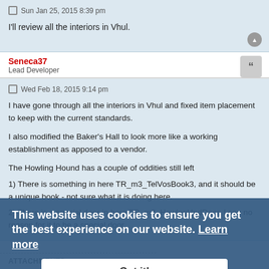Sun Jan 25, 2015 8:39 pm
I'll review all the interiors in Vhul.
Seneca37
Lead Developer
Wed Feb 18, 2015 9:14 pm
I have gone through all the interiors in Vhul and fixed item placement to keep with the current standards.

I also modified the Baker's Hall to look more like a working establishment as apposed to a vendor.

The Howling Hound has a couple of oddities still left
1) There is something in here TR_m3_TelVosBook3, and it should be a unique book - not sure what it is doing here.

2) There is a special door in here TR_m3_HowlngHndDoor. I see no reason for it to be a special door.
This website uses cookies to ensure you get the best experience on our website. Learn more

Got it!
ATTACHMENTS